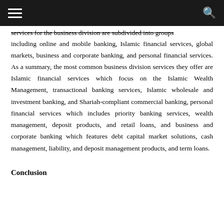services for the business division are subdivided into groups including online and mobile banking, Islamic financial services, global markets, business and corporate banking, and personal financial services. As a summary, the most common business division services they offer are Islamic financial services which focus on the Islamic Wealth Management, transactional banking services, Islamic wholesale and investment banking, and Shariah-compliant commercial banking, personal financial services which includes priority banking services, wealth management, deposit products, and retail loans, and business and corporate banking which features debt capital market solutions, cash management, liability, and deposit management products, and term loans.
Conclusion